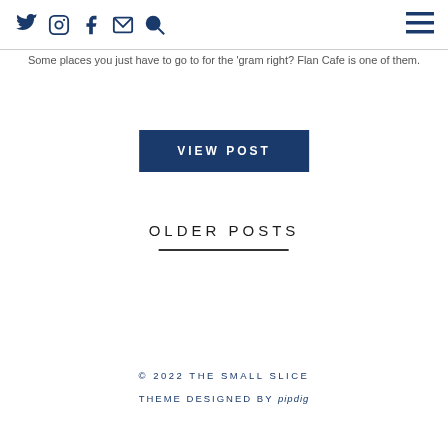Social icons: Twitter, Instagram, Facebook, Email, Search; Hamburger menu
Some places you just have to go to for the 'gram right? Flan Cafe is one of them.
VIEW POST
OLDER POSTS
© 2022 THE SMALL SLICE
THEME DESIGNED BY pipdig